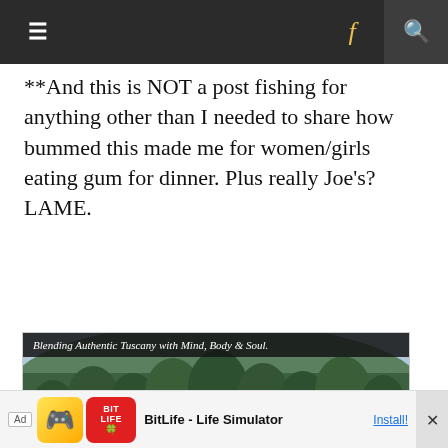≡  f  🔍
**And this is NOT a post fishing for anything other than I needed to share how bummed this made me for women/girls eating gum for dinner. Plus really Joe's? LAME.
[Figure (photo): A Tuscany landscape photo showing forested hills with a farmhouse, with header text 'Blending Authentic Tuscany with Mind, Body & Soul.' and caption 'Jen Pastiloff is the founder of The Manifest-Station.']
Ad | BitLife - Life Simulator | Install!